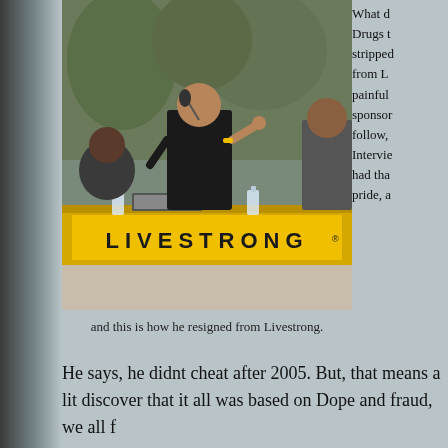[Figure (photo): Man in black t-shirt speaking into microphone at a LIVESTRONG event, with other people seated at a table, yellow LIVESTRONG banner visible]
and this is how he resigned from Livestrong.
What do Drugs to stripped from L painful sponsor follow, Intervie had tha pride, a
He says, he didnt cheat after 2005. But, that means a lit discover that it all was based on Dope and fraud, we all f
The fairy tale has ended, Greatest Cyclist of the world ha